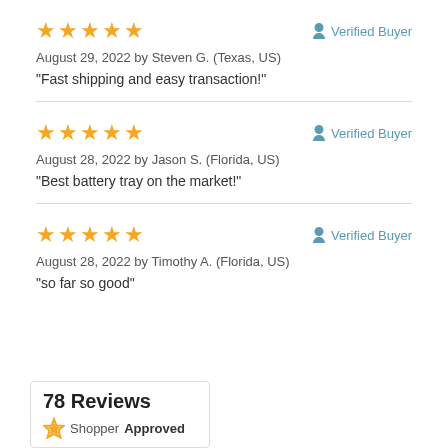★★★★★  Verified Buyer
August 29, 2022 by Steven G. (Texas, US)
"Fast shipping and easy transaction!"
★★★★★  Verified Buyer
August 28, 2022 by Jason S. (Florida, US)
"Best battery tray on the market!"
★★★★★  Verified Buyer
August 28, 2022 by Timothy A. (Florida, US)
"so far so good"
78 Reviews
ShopperApproved